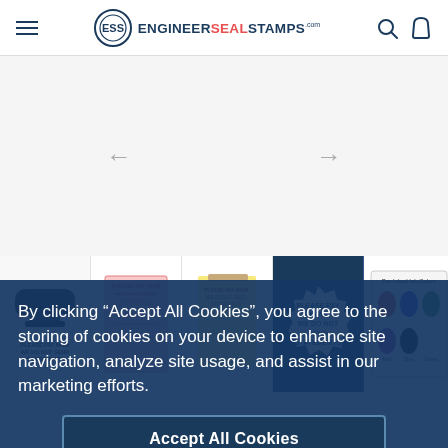EngineerSealStamps.com
[Figure (screenshot): Carousel with navigation arrows showing stamp product images]
[Figure (photo): Row of product thumbnails: black stamp, pink/white invoice pad, yellow notepad, white starburst card reading PLEASE PAY NOW WE DO NOT SEND STATEMENTS, and ink color chart]
By clicking “Accept All Cookies”, you agree to the storing of cookies on your device to enhance site navigation, analyze site usage, and assist in our marketing efforts.
Accept All Cookies